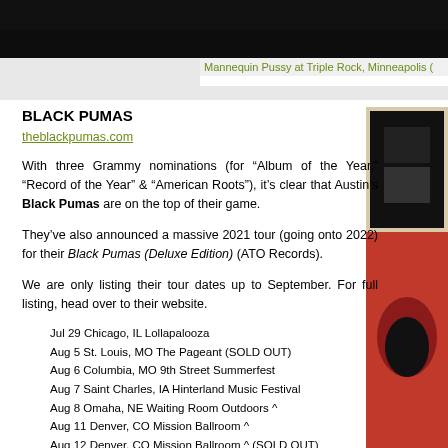[Figure (photo): Dark performance photo of band at venue, top portion of page]
Mannequin Pussy at Triple Rock, Minneapolis (
BLACK PUMAS
theblackpumas.com
With three Grammy nominations (for “Album of the Year,” “Record of the Year” & “American Roots”), it’s clear that Austin’s Black Pumas are on the top of their game.
They’ve also announced a massive 2021 tour (going onto 2022) for their Black Pumas (Deluxe Edition) (ATO Records).
We are only listing their tour dates up to September. For full listing, head over to their website.
Jul 29 Chicago, IL Lollapalooza
Aug 5 St. Louis, MO The Pageant (SOLD OUT)
Aug 6 Columbia, MO 9th Street Summerfest
Aug 7 Saint Charles, IA Hinterland Music Festival
Aug 8 Omaha, NE Waiting Room Outdoors ^
Aug 11 Denver, CO Mission Ballroom ^
Aug 12 Denver, CO Mission Ballroom ^ (SOLD OUT)
Aug 13 Dillon, CO Dillon Amphitheater ^
Aug 15 Aspen, CO Belly Up
Aug 17 Salt Lake City, UT The Depot*
Aug 19 Portland, OR Roseland Theater*
[Figure (photo): Black Pumas album cover or promotional image on right side, dark top and red bottom portions]